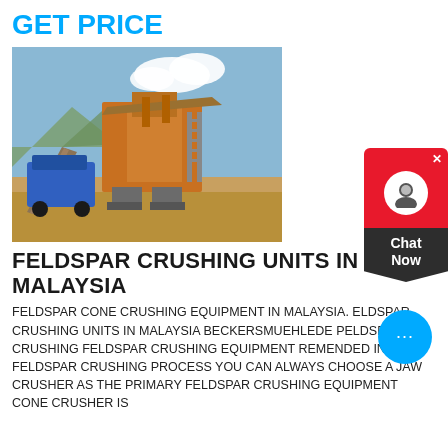GET PRICE
[Figure (photo): Outdoor mining/crushing equipment site with large orange/yellow feldspar crushing machinery and blue machinery on sandy ground under a partly cloudy sky.]
FELDSPAR CRUSHING UNITS IN MALAYSIA
FELDSPAR CONE CRUSHING EQUIPMENT IN MALAYSIA. ELDSPAR CRUSHING UNITS IN MALAYSIA BECKERSMUEHLEDE PELDSPAR CRUSHING FELDSPAR CRUSHING EQUIPMENT REMENDED IN YOU FELDSPAR CRUSHING PROCESS YOU CAN ALWAYS CHOOSE A JAW CRUSHER AS THE PRIMARY FELDSPAR CRUSHING EQUIPMENT CONE CRUSHER IS